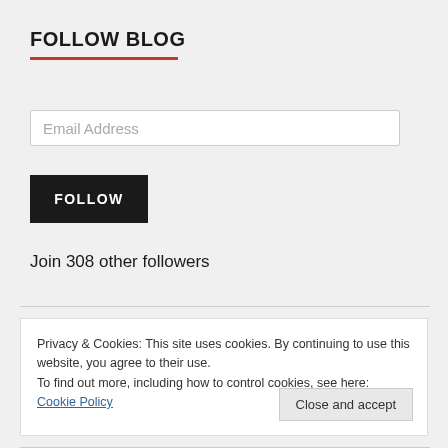FOLLOW BLOG
Email Address
FOLLOW
Join 308 other followers
Privacy & Cookies: This site uses cookies. By continuing to use this website, you agree to their use.
To find out more, including how to control cookies, see here: Cookie Policy
Close and accept